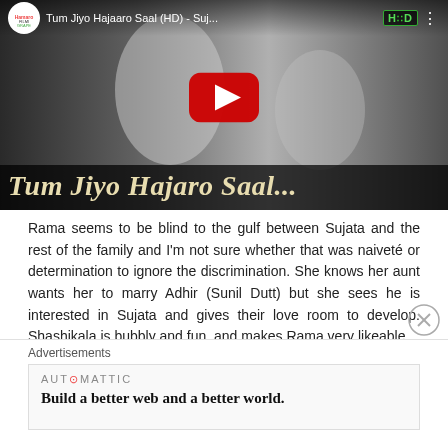[Figure (screenshot): YouTube video thumbnail for 'Tum Jiyo Hajaaro Saal (HD) - Suj...' from Hamaro Filmi Grape channel. Black and white photo of two Indian women, one in a sari with flowers in hair. Red YouTube play button in center. Title overlay at bottom reads 'Tum Jiyo Hajaro Saal...' in italic gold text on dark background. HD badge visible top right.]
Rama seems to be blind to the gulf between Sujata and the rest of the family and I'm not sure whether that was naiveté or determination to ignore the discrimination. She knows her aunt wants her to marry Adhir (Sunil Dutt) but she sees he is interested in Sujata and gives their love room to develop. Shashikala is bubbly and fun, and makes Rama very likeable.
Advertisements
[Figure (screenshot): Automattic advertisement banner reading 'Build a better web and a better world.' in bold serif font.]